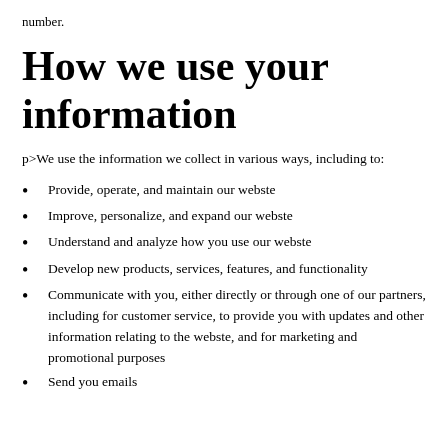number.
How we use your information
p>We use the information we collect in various ways, including to:
Provide, operate, and maintain our webste
Improve, personalize, and expand our webste
Understand and analyze how you use our webste
Develop new products, services, features, and functionality
Communicate with you, either directly or through one of our partners, including for customer service, to provide you with updates and other information relating to the webste, and for marketing and promotional purposes
Send you emails